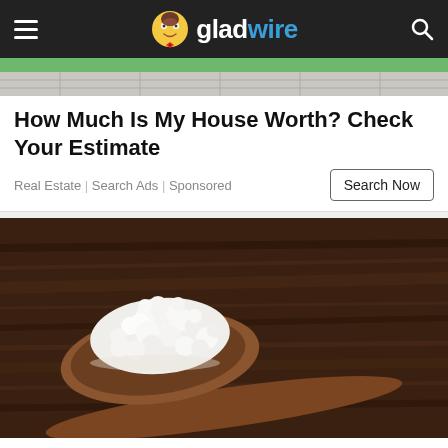gladwire
[Figure (photo): Partial hero image showing a paved walkway and green grass at the top of the page]
How Much Is My House Worth? Check Your Estimate
Real Estate | Search Ads | Sponsored
[Figure (photo): Close-up photo of white kefir grains on a wooden spoon against a rustic dark wooden background]